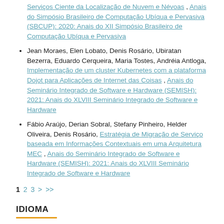Serviços Ciente da Localização de Nuvem e Névoas , Anais do Simpósio Brasileiro de Computação Ubíqua e Pervasiva (SBCUP): 2020: Anais do XII Simpósio Brasileiro de Computação Ubíqua e Pervasiva
Jean Moraes, Elen Lobato, Denis Rosário, Ubiratan Bezerra, Eduardo Cerqueira, Maria Tostes, Andréia Antloga, Implementação de um cluster Kubernetes com a plataforma Dojot para Aplicações de Internet das Coisas , Anais do Seminário Integrado de Software e Hardware (SEMISH): 2021: Anais do XLVIII Seminário Integrado de Software e Hardware
Fábio Araújo, Derian Sobral, Stefany Pinheiro, Helder Oliveira, Denis Rosário, Estratégia de Migração de Serviço baseada em Informações Contextuais em uma Arquitetura MEC , Anais do Seminário Integrado de Software e Hardware (SEMISH): 2021: Anais do XLVIII Seminário Integrado de Software e Hardware
1 2 3 > >>
IDIOMA